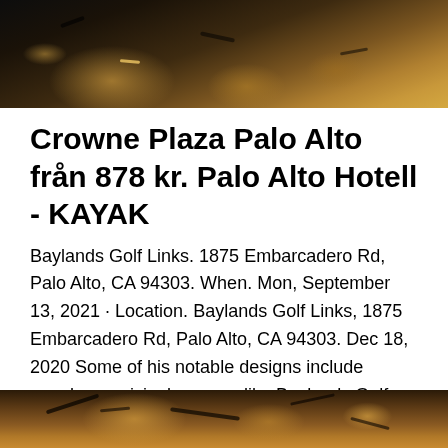[Figure (photo): Top portion of an animal photo, appears to be a big cat (tiger/lion) with sandy/rocky ground visible, dark background]
Crowne Plaza Palo Alto från 878 kr. Palo Alto Hotell - KAYAK
Baylands Golf Links. 1875 Embarcadero Rd, Palo Alto, CA 94303. When. Mon, September 13, 2021 · Location. Baylands Golf Links, 1875 Embarcadero Rd, Palo Alto, CA 94303. Dec 18, 2020 Some of his notable designs include popular municipal courses like Baylands Golf Links in Palo Alto and Olivas Links in Ventura County  Baylands Golf Links tee and blue sky on clear day.
[Figure (photo): Bottom portion showing a tiger with distinctive stripes and orange/black fur pattern]